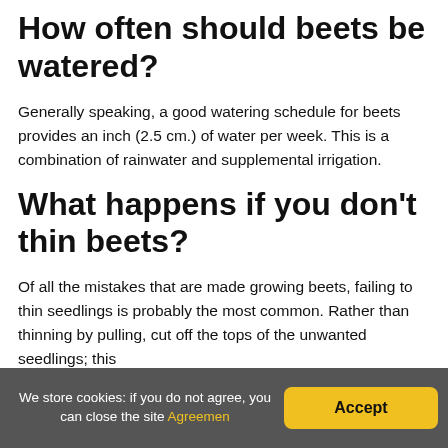How often should beets be watered?
Generally speaking, a good watering schedule for beets provides an inch (2.5 cm.) of water per week. This is a combination of rainwater and supplemental irrigation.
What happens if you don't thin beets?
Of all the mistakes that are made growing beets, failing to thin seedlings is probably the most common. Rather than thinning by pulling, cut off the tops of the unwanted seedlings; this
We store cookies: if you do not agree, you can close the site Agreemen